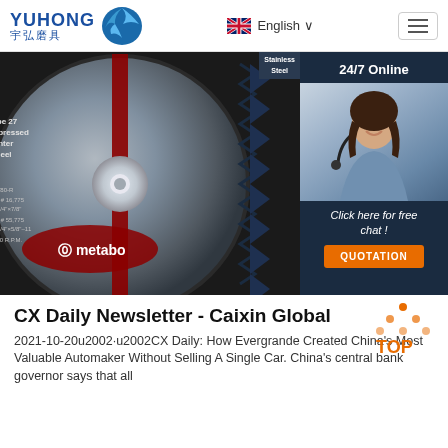YUHONG 宇弘磨具 — English
[Figure (photo): Close-up of a Metabo Type 27 Depressed Center grinding wheel (black disc with red stripe) next to a 24/7 Online customer service panel showing a female agent with headset, 'Click here for free chat!' text, and an orange QUOTATION button. Stainless Steel label visible top right of wheel.]
CX Daily Newsletter - Caixin Global
2021-10-20u2002·u2002CX Daily: How Evergrande Created China's Most Valuable Automaker Without Selling A Single Car. China's central bank governor says that all...